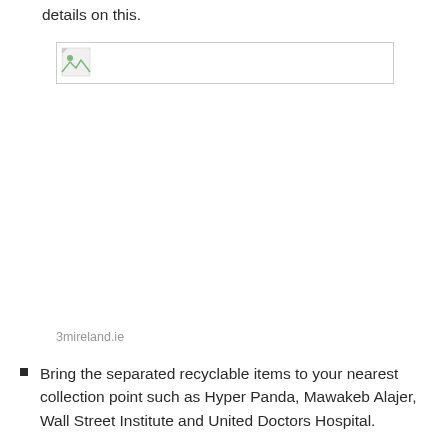details on this.
[Figure (other): Broken/missing image placeholder showing a small image icon with a border rectangle, representing a failed image load.]
3mireland.ie
Bring the separated recyclable items to your nearest collection point such as Hyper Panda, Mawakeb Alajer, Wall Street Institute and United Doctors Hospital.